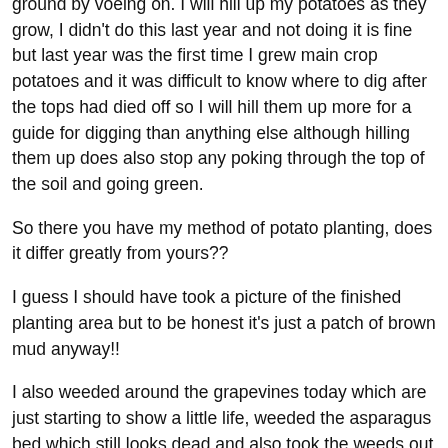ground by voeing on. I will hill up my potatoes as they grow, I didn't do this last year and not doing it is fine but last year was the first time I grew main crop potatoes and it was difficult to know where to dig after the tops had died off so I will hill them up more for a guide for digging than anything else although hilling them up does also stop any poking through the top of the soil and going green.
So there you have my method of potato planting, does it differ greatly from yours??
I guess I should have took a picture of the finished planting area but to be honest it's just a patch of brown mud anyway!!
I also weeded around the grapevines today which are just starting to show a little life, weeded the asparagus bed which still looks dead and also took the weeds out of the cold-frame.
It was a bust morning but also very satisfying!!
.